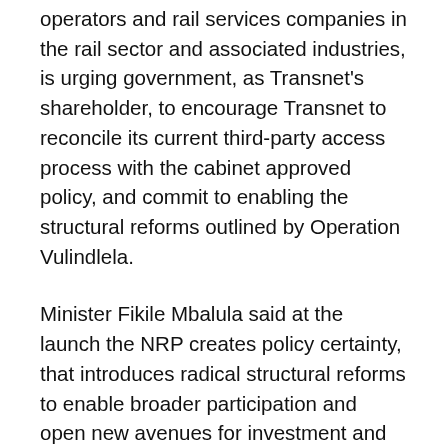operators and rail services companies in the rail sector and associated industries, is urging government, as Transnet's shareholder, to encourage Transnet to reconcile its current third-party access process with the cabinet approved policy, and commit to enabling the structural reforms outlined by Operation Vulindlela.
Minister Fikile Mbalula said at the launch the NRP creates policy certainty, that introduces radical structural reforms to enable broader participation and open new avenues for investment and competitiveness.
“A key element is opening up space for private sector investment and effective economic regulation that ensures fair and regulated access to both primary and secondary networks. This means that the rail market will be open for other operators to compete and improve operational efficiency needed to improve service quality and competitive pricing in freight rail.”Fikile Mbalula